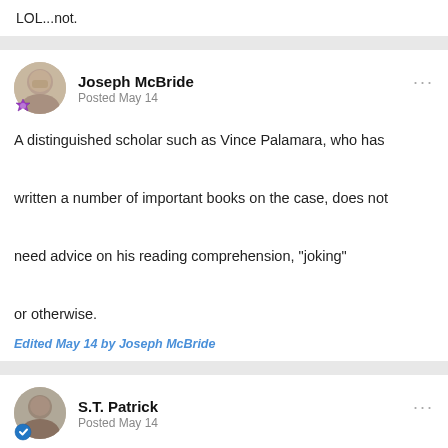LOL...not.
Joseph McBride
Posted May 14

A distinguished scholar such as Vince Palamara, who has written a number of important books on the case, does not need advice on his reading comprehension, "joking" or otherwise.

Edited May 14 by Joseph McBride
S.T. Patrick
Posted May 14

Agree that Vince is a good guy, a good writer, and I believe his